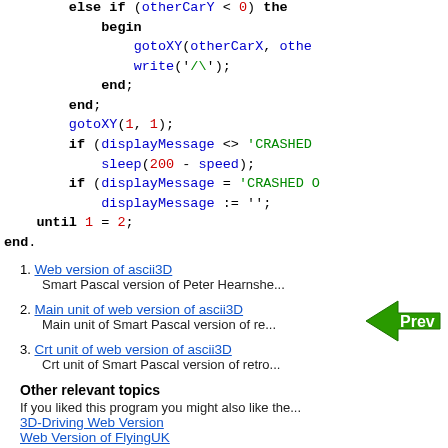[Figure (screenshot): Pascal source code snippet showing else-if block with gotoXY, write, end, begin keywords, sleep and displayMessage logic, until loop end.]
1. Web version of ascii3D — Smart Pascal version of Peter Hearnshe...
2. Main unit of web version of ascii3D — Main unit of Smart Pascal version of re...
3. Crt unit of web version of ascii3D — Crt unit of Smart Pascal version of retro...
[Figure (other): Green Prev navigation button arrow pointing left]
Other relevant topics
If you liked this program you might also like the...
3D-Driving Web Version
Web Version of FlyingUK
Web Version 2 of Knowledge
Web Version of SuperHappyFunLand